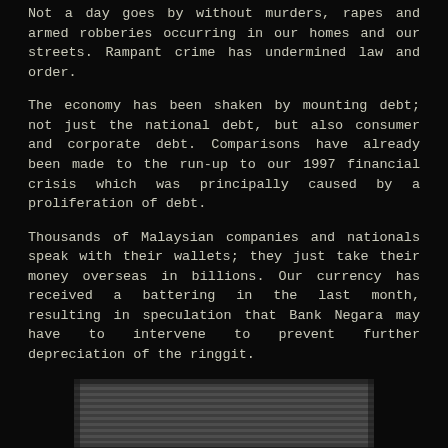Not a day goes by without murders, rapes and armed robberies occurring in our homes and our streets. Rampant crime has undermined law and order.
The economy has been shaken by mounting debt; not just the national debt, but also consumer and corporate debt. Comparisons have already been made to the run-up to our 1997 financial crisis which was principally caused by a proliferation of debt.
Thousands of Malaysian companies and nationals speak with their wallets; they just take their money overseas in billions. Our currency has received a battering in the last month, resulting in speculation that Bank Negara may have to intervene to prevent further depreciation of the ringgit.
[Figure (photo): Black and white photograph of a formal outdoor gathering or ceremony, showing officials and dignitaries seated in chairs on a platform or stage, with a large crowd visible in the background stands. Some figures carry umbrellas. The scene appears to be a significant public event in Malaysia.]